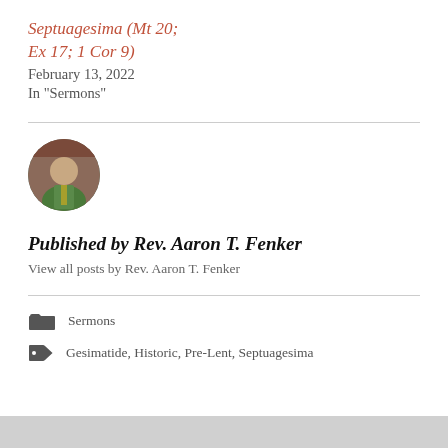Septuagesima (Mt 20; Ex 17; 1 Cor 9)
February 13, 2022
In "Sermons"
[Figure (photo): Circular avatar photo of Rev. Aaron T. Fenker wearing green liturgical vestments]
Published by Rev. Aaron T. Fenker
View all posts by Rev. Aaron T. Fenker
Sermons
Gesimatide, Historic, Pre-Lent, Septuagesima